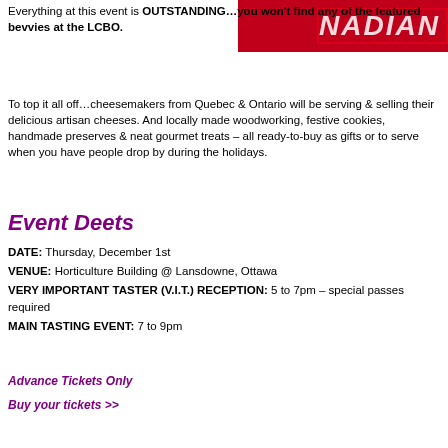[Figure (photo): Partial photo showing red background with white italic text reading 'NADIAN' (part of 'CANADIAN'), with a partial figure visible]
Everything at this event is OUTSTANDING…you won't find any of the featured bevvies at the LCBO.
To top it all off…cheesemakers from Quebec & Ontario will be serving & selling their delicious artisan cheeses. And locally made woodworking, festive cookies, handmade preserves & neat gourmet treats – all ready-to-buy as gifts or to serve when you have people drop by during the holidays.
Event Deets
DATE: Thursday, December 1st
VENUE: Horticulture Building @ Lansdowne, Ottawa
VERY IMPORTANT TASTER (V.I.T.) RECEPTION: 5 to 7pm – special passes required
MAIN TASTING EVENT: 7 to 9pm
Advance Tickets Only
Buy your tickets >>